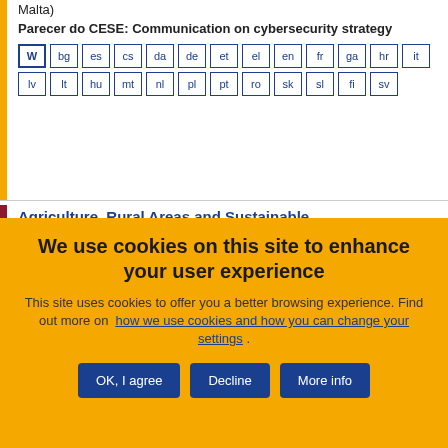Malta)
Parecer do CESE: Communication on cybersecurity strategy
[Figure (other): Language selection grid with boxes: W (active), bg, es, cs, da, de, et, el, en, fr, ga, hr, it, lv, lt, hu, mt, nl, pl, pt, ro, sk, sl, fi, sv]
Agriculture, Rural Areas and Sustainable Development in the Eastern Partnership
We use cookies on this site to enhance your user experience
This site uses cookies to offer you a better browsing experience. Find out more on how we use cookies and how you can change your settings .
OK, I agree | Decline | More info